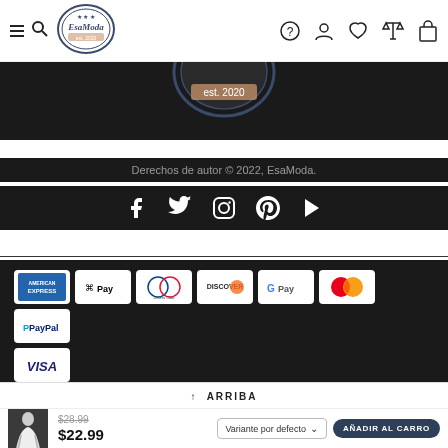[Figure (screenshot): EsaModa website navigation bar with hamburger/search icon on left, EsaModa logo (circular badge), and right-side icons: help, account, wishlist, compare, cart]
[Figure (illustration): Partial circular EsaModa logo at top of dark footer section showing 'est. 2020' text]
Derechos de autor © 2022, EsaModa.
[Figure (illustration): Social media icons row: Facebook, Twitter, Instagram, Pinterest, YouTube — white icons on dark background]
[Figure (illustration): Payment method icons: American Express, Apple Pay, Diners Club, Discover, Google Pay, Mastercard, PayPal, Visa]
↑ ARRIBA
[Figure (photo): Product thumbnail: woman in white crop top and denim shorts]
$28.99
$22.99
Variante por defecto
AÑADIR AL CARRO